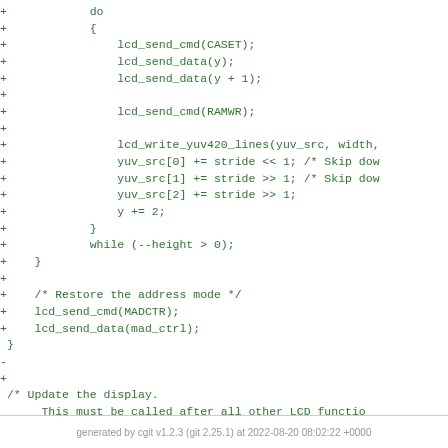Code diff showing lcd_write_yuv420_lines function additions and lcd_update function declaration
generated by cgit v1.2.3 (git 2.25.1) at 2022-08-20 08:02:22 +0000